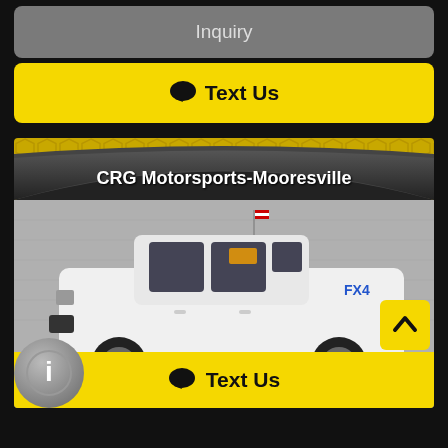Inquiry
Text Us
[Figure (photo): CRG Motorsports-Mooresville dealership logo with honeycomb yellow background and arch, above a white Ford F-250 FX4 pickup truck (lifted, black wheels) parked outside a building, with an American flag and a price sticker in the windshield.]
Text Us